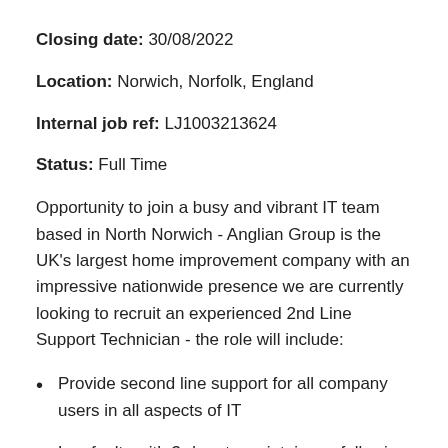Closing date: 30/08/2022
Location: Norwich, Norfolk, England
Internal job ref: LJ1003213624
Status: Full Time
Opportunity to join a busy and vibrant IT team based in North Norwich - Anglian Group is the UK's largest home improvement company with an impressive nationwide presence we are currently looking to recruit an experienced 2nd Line Support Technician - the role will include:
Provide second line support for all company users in all aspects of IT
Log faults with 3rd party maintainers, following up and ensuring resolutions are completed within